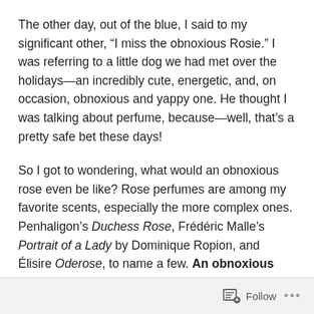The other day, out of the blue, I said to my significant other, “I miss the obnoxious Rosie.” I was referring to a little dog we had met over the holidays—an incredibly cute, energetic, and, on occasion, obnoxious and yappy one. He thought I was talking about perfume, because—well, that’s a pretty safe bet these days!
So I got to wondering, what would an obnoxious rose even be like? Rose perfumes are among my favorite scents, especially the more complex ones. Penhaligon’s Duchess Rose, Frédéric Malle’s Portrait of a Lady by Dominique Ropion, and Élisire Oderose, to name a few. An obnoxious rose, to me, was an oxymoron.
Follow •••